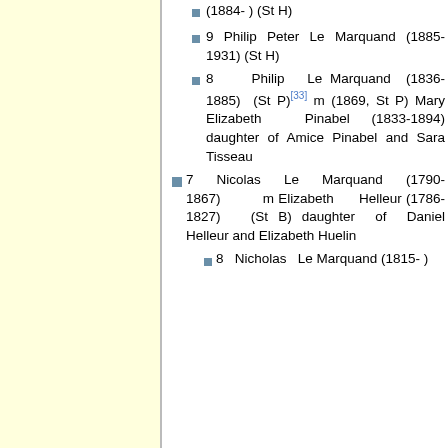(1884- ) (St H)
9 Philip Peter Le Marquand (1885-1931) (St H)
8 Philip Le Marquand (1836-1885) (St P)[33] m (1869, St P) Mary Elizabeth Pinabel (1833-1894) daughter of Amice Pinabel and Sara Tisseau
7 Nicolas Le Marquand (1790-1867) m Elizabeth Helleur (1786-1827) (St B) daughter of Daniel Helleur and Elizabeth Huelin
8 Nicholas Le Marquand (1815- )